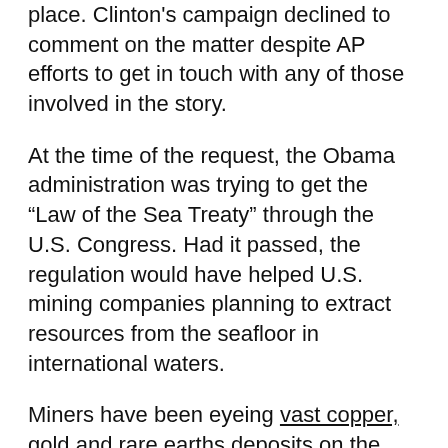place. Clinton's campaign declined to comment on the matter despite AP efforts to get in touch with any of those involved in the story.
At the time of the request, the Obama administration was trying to get the "Law of the Sea Treaty" through the U.S. Congress. Had it passed, the regulation would have helped U.S. mining companies planning to extract resources from the seafloor in international waters.
Miners have been eyeing vast copper, gold and rare earths deposits on the seafloor. But, until now, only Canadian Nautilus Minerals (TSX:NUS) has made enough progress as to forecast it may start